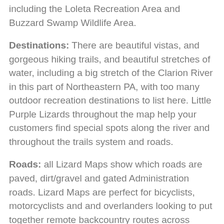including the Loleta Recreation Area and Buzzard Swamp Wildlife Area.
Destinations: There are beautiful vistas, and gorgeous hiking trails, and beautiful stretches of water, including a big stretch of the Clarion River in this part of Northeastern PA, with too many outdoor recreation destinations to list here. Little Purple Lizards throughout the map help your customers find special spots along the river and throughout the trails system and roads.
Roads: all Lizard Maps show which roads are paved, dirt/gravel and gated Administration roads. Lizard Maps are perfect for bicyclists, motorcyclists and and overlanders looking to put together remote backcountry routes across public lands.
Major hiking trails: The North Country Trail (NCT) and Baker Trail are shown where they traverse this map. The NCT